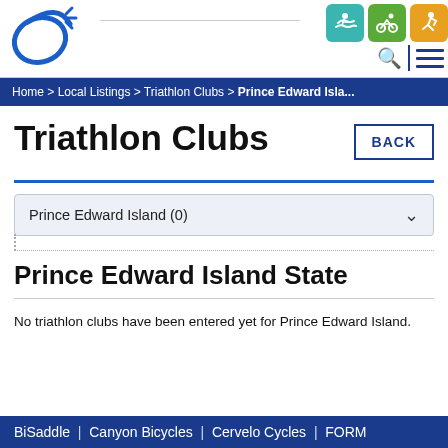[Figure (logo): Triathlon website logo with blue swoosh/leaf design]
[Figure (infographic): Three sport icon badges: teal swimmer, green cyclist, orange runner]
Home > Local Listings > Triathlon Clubs > Prince Edward Isla...
Triathlon Clubs
BACK
Prince Edward Island (0)
Prince Edward Island State
No triathlon clubs have been entered yet for Prince Edward Island.
BiSaddle  |  Canyon Bicycles  |  Cervelo Cycles  |  FORM